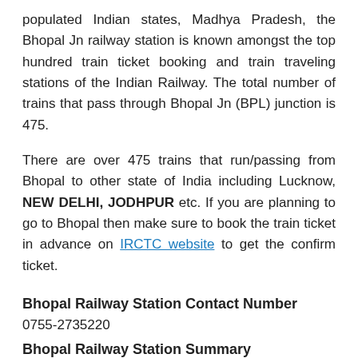populated Indian states, Madhya Pradesh, the Bhopal Jn railway station is known amongst the top hundred train ticket booking and train traveling stations of the Indian Railway. The total number of trains that pass through Bhopal Jn (BPL) junction is 475.
There are over 475 trains that run/passing from Bhopal to other state of India including Lucknow, NEW DELHI, JODHPUR etc. If you are planning to go to Bhopal then make sure to book the train ticket in advance on IRCTC website to get the confirm ticket.
Bhopal Railway Station Contact Number
0755-2735220
Bhopal Railway Station Summary
Station Name: BHOPAL Junction Railway Station